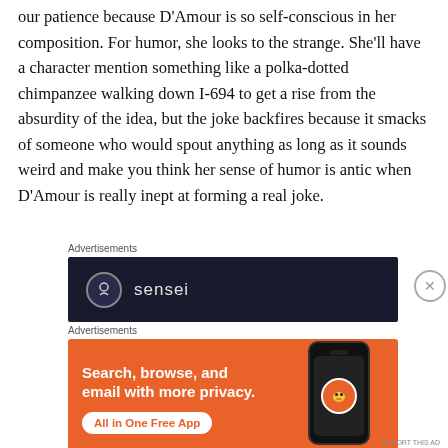our patience because D'Amour is so self-conscious in her composition. For humor, she looks to the strange. She'll have a character mention something like a polka-dotted chimpanzee walking down I-694 to get a rise from the absurdity of the idea, but the joke backfires because it smacks of someone who would spout anything as long as it sounds weird and make you think her sense of humor is antic when D'Amour is really inept at forming a real joke.
[Figure (screenshot): Sensei advertisement on dark navy background with logo circle and text 'sensei']
[Figure (screenshot): DuckDuckGo advertisement on orange background reading 'Search, browse, and email with more privacy. All in One Free App' with a phone graphic]